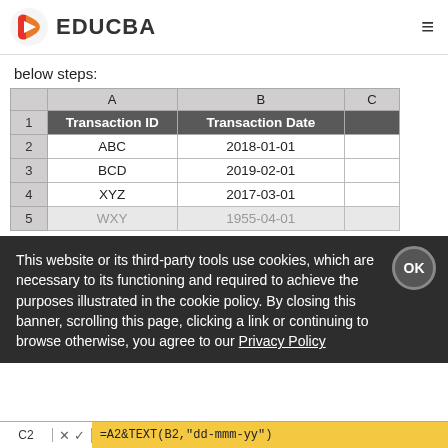EDUCBA
below steps:
|  | A | B | C |
| --- | --- | --- | --- |
| 1 | Transaction ID | Transaction Date |  |
| 2 | ABC | 2018-01-01 |  |
| 3 | BCD | 2019-02-01 |  |
| 4 | XYZ | 2017-03-01 |  |
| 5 | WXY | 1955-04-01 |  |
This website or its third-party tools use cookies, which are necessary to its functioning and required to achieve the purposes illustrated in the cookie policy. By closing this banner, scrolling this page, clicking a link or continuing to browse otherwise, you agree to our Privacy Policy
=A2&TEXT(B2,"dd-mmm-yy")